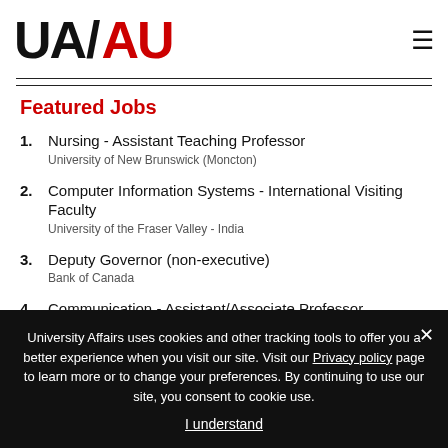UA/AU logo and navigation
Featured Jobs
1. Nursing - Assistant Teaching Professor
University of New Brunswick (Moncton)
2. Computer Information Systems - International Visiting Faculty
University of the Fraser Valley - India
3. Deputy Governor (non-executive)
Bank of Canada
4. Communication - Assistant/Associate Professor
(Indigenous Communication, Identity and Community)
University Affairs uses cookies and other tracking tools to offer you a better experience when you visit our site. Visit our Privacy policy page to learn more or to change your preferences. By continuing to use our site, you consent to cookie use.
I understand